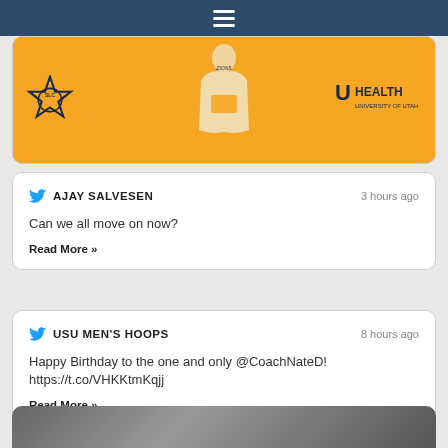Navigation bar with hamburger menu
[Figure (photo): Orange banner with SLC star logo on left, jersey figure in center, U Health University of Utah logo on right]
AJAY SALVESEN · 3 hours ago
Can we all move on now?
Read More »
USU MEN'S HOOPS · 8 hours ago
Happy Birthday to the one and only @CoachNateD! https://t.co/VHKKtmKqjj
Read More »
[Figure (photo): Partial photo at bottom, blurred sports image]